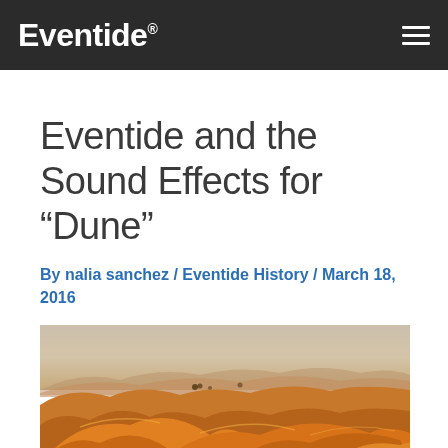Eventide
Eventide and the Sound Effects for “Dune”
By nalia sanchez / Eventide History / March 18, 2016
[Figure (photo): Desert landscape with orange sand dunes under a hazy sky, with mountains in the background and sparse vegetation visible.]